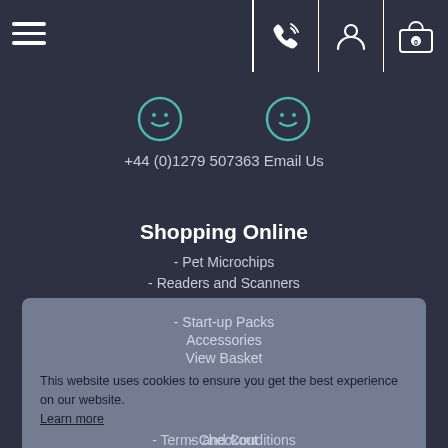[Figure (screenshot): Website header with hamburger menu on left, and phone/user/basket icons on right separated by vertical lines]
[Figure (illustration): Two teal smiley-face/circular icons in the center area below the header]
+44 (0)1279 507363 Email Us
Shopping Online
- Pet Microchips
- Readers and Scanners
- Start-up Packs
Accessories
View Basket
- Checkout
- Privacy Policy
- Delivery Information
- Returns Policy
- Terms and Conditions
This website uses cookies to ensure you get the best experience on our website. Learn more